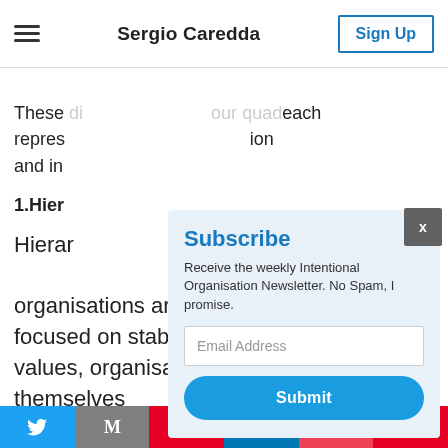Sergio Caredda | Sign Up
These dimensions form four quadrants, each representing a different organisation type and in...
1.Hier...
Hierar... organisations are inward-looking and focused on stability and control. With these values, organisations look within themselves...
[Figure (screenshot): Subscribe modal popup with email address field and Submit button]
Social share bar: Twitter, Mail, Pinterest, LinkedIn, Pocket, Flipboard